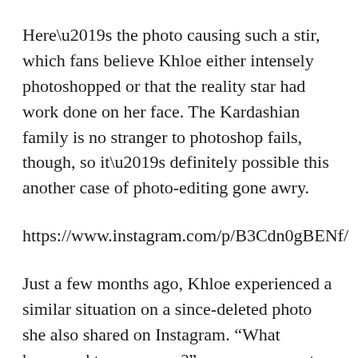Here’s the photo causing such a stir, which fans believe Khloe either intensely photoshopped or that the reality star had work done on her face. The Kardashian family is no stranger to photoshop fails, though, so it’s definitely possible this another case of photo-editing gone awry.
https://www.instagram.com/p/B3Cdn0gBENf/
Just a few months ago, Khloe experienced a similar situation on a since-deleted photo she also shared on Instagram. “What happened to your nose?” one person wrote. “Giiiiirl I adore u but what the hell did you do to your nose?” another chimed in. “Who ever